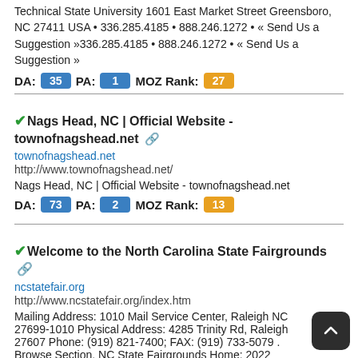Technical State University 1601 East Market Street Greensboro, NC 27411 USA • 336.285.4185 • 888.246.1272 • « Send Us a Suggestion »336.285.4185 • 888.246.1272 • « Send Us a Suggestion »
DA: 35  PA: 1  MOZ Rank: 27
Nags Head, NC | Official Website - townofnagshead.net
townofnagshead.net
http://www.townofnagshead.net/
Nags Head, NC | Official Website - townofnagshead.net
DA: 73  PA: 2  MOZ Rank: 13
Welcome to the North Carolina State Fairgrounds
ncstatefair.org
http://www.ncstatefair.org/index.htm
Mailing Address: 1010 Mail Service Center, Raleigh NC 27699-1010 Physical Address: 4285 Trinity Rd, Raleigh 27607 Phone: (919) 821-7400; FAX: (919) 733-5079 . Browse Section. NC State Fairgrounds Home: 2022 State